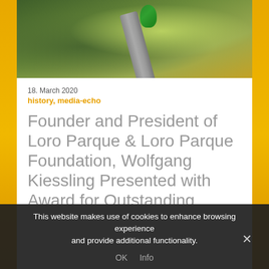[Figure (photo): Bird perched on a branch against a green and yellow-orange blurred background]
18. March 2020
history, media-echo
Founder and President of Loro Parque & Loro Parque Foundation, Wolfgang Kiessling Presented with Award for Outstanding Leadership
Published on americanhumane.org the 16.03.2020.
The animal welfare organisation American Humane presented Wolfgang Kiessling, Founder and President of
This website makes use of cookies to enhance browsing experience and provide additional functionality. OK Info